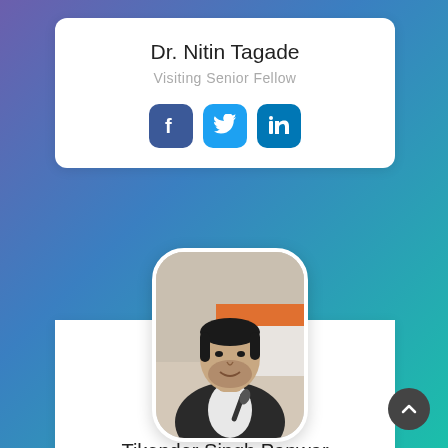Dr. Nitin Tagade
Visiting Senior Fellow
[Figure (illustration): Social media icons: Facebook, Twitter, LinkedIn]
[Figure (photo): Portrait photo of Tikender Singh Panwar, a man with dark hair and beard, speaking at a conference with microphone]
Tikender Singh Panwar